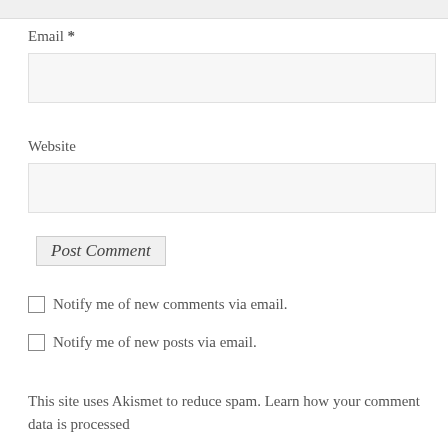Email *
Website
Post Comment
Notify me of new comments via email.
Notify me of new posts via email.
This site uses Akismet to reduce spam. Learn how your comment data is processed